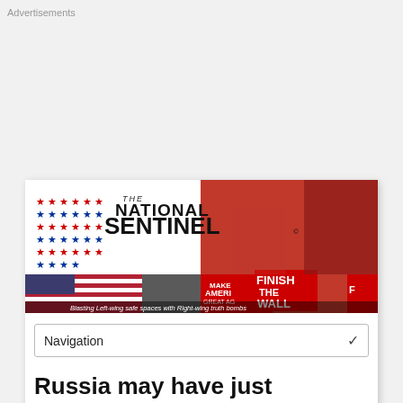Advertisements
[Figure (screenshot): The National Sentinel website banner with logo (stars and masthead) and rally photos. Tagline: Blasting Left-wing safe spaces with Right-wing truth bombs]
Navigation
Russia may have just practiced going to